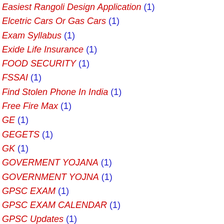Easiest Rangoli Design Application (1)
Elcetric Cars Or Gas Cars (1)
Exam Syllabus (1)
Exide Life Insurance (1)
FOOD SECURITY (1)
FSSAI (1)
Find Stolen Phone In India (1)
Free Fire Max (1)
GE (1)
GEGETS (1)
GK (1)
GOVERMENT YOJANA (1)
GOVERNMENT YOJNA (1)
GPSC EXAM (1)
GPSC EXAM CALENDAR (1)
GPSC Updates (1)
GSCPS (1)
GSEB APP (1)
GSFC (1)